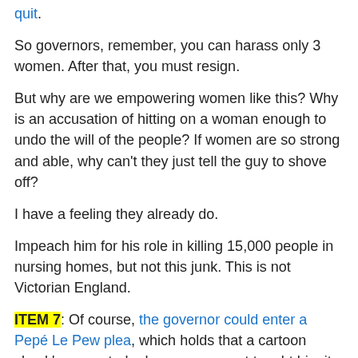quit.
So governors, remember, you can harass only 3 women. After that, you must resign.
But why are we empowering women like this? Why is an accusation of hitting on a woman enough to undo the will of the people? If women are so strong and able, why can't they just tell the guy to shove off?
I have a feeling they already do.
Impeach him for his role in killing 15,000 people in nursing homes, but not this junk. This is not Victorian England.
ITEM 7: Of course, the governor could enter a Pepé Le Pew plea, which holds that a cartoon skunk's unwanted advances on a cat taught him it was OK to harass women.
There also is the Yogi Bear defense for stealing picnic baskets.
My favorite is the Elmer Fudd plea for poaching. You just tell